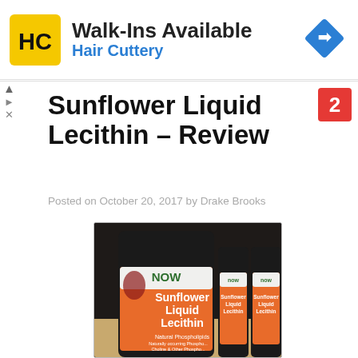[Figure (logo): Hair Cuttery advertisement banner with HC logo, text 'Walk-Ins Available' and 'Hair Cuttery', and a blue navigation diamond icon]
Sunflower Liquid Lecithin – Review
Posted on October 20, 2017 by Drake Brooks
[Figure (photo): Photo of NOW brand Sunflower Liquid Lecithin bottles with orange labels, showing product name and 'Natural Phospholipids', 'Naturally occurring Phospho...', 'Choline & Other Phospho...', 'Non-GMO' text]